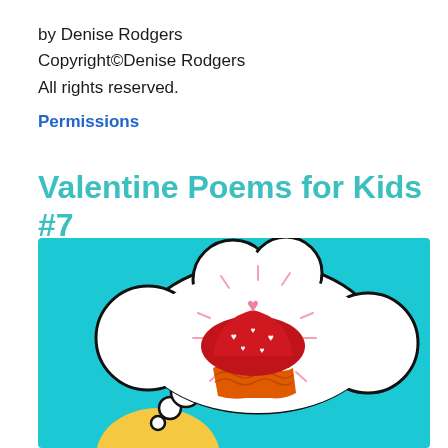by Denise Rodgers
Copyright©Denise Rodgers
All rights reserved.
Permissions
Valentine Poems for Kids #7
[Figure (illustration): Cartoon illustration on a teal/cyan background showing a thought bubble containing a red Valentine's Day cupcake with white heart sprinkles and a pink heart on top, with sparkle lines radiating outward. Below the thought bubble are small circles (thought bubble trail), and at the bottom is the top of a yellow cartoon character's head.]